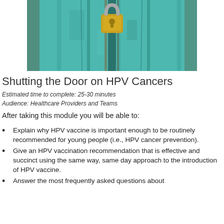[Figure (photo): A teal/turquoise painted wooden door with a gold padlock, photo used as header image for HPV cancer prevention module]
Shutting the Door on HPV Cancers
Estimated time to complete: 25-30 minutes
Audience: Healthcare Providers and Teams
After taking this module you will be able to:
Explain why HPV vaccine is important enough to be routinely recommended for young people (i.e., HPV cancer prevention).
Give an HPV vaccination recommendation that is effective and succinct using the same way, same day approach to the introduction of HPV vaccine.
Answer the most frequently asked questions about